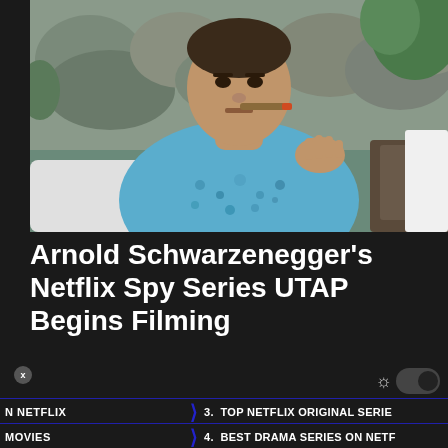[Figure (photo): Arnold Schwarzenegger sitting outdoors in a blue floral shirt, smoking a cigar, with rocks and greenery in the background]
Arnold Schwarzenegger's Netflix Spy Series UTAP Begins Filming
N NETFLIX
MOVIES
3. TOP NETFLIX ORIGINAL SERIE
4. BEST DRAMA SERIES ON NETF